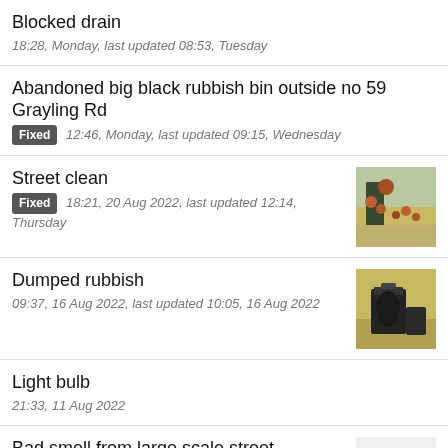Blocked drain
18:28, Monday, last updated 08:53, Tuesday
Abandoned big black rubbish bin outside no 59 Grayling Rd
Fixed 12:46, Monday, last updated 09:15, Wednesday
Street clean
Fixed 18:21, 20 Aug 2022, last updated 12:14, Thursday
Dumped rubbish
09:37, 16 Aug 2022, last updated 10:05, 16 Aug 2022
Light bulb
21:33, 11 Aug 2022
Bad smell from large scale street drainage issue N16
19:31, 11 Aug 2022, last updated 10:58, 12 Aug 2022
Smells from the Pets Shop